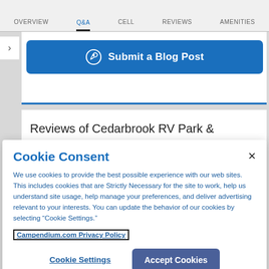OVERVIEW   Q&A   CELL   REVIEWS   AMENITIES
[Figure (screenshot): Submit a Blog Post button with blog icon on blue background]
Reviews of Cedarbrook RV Park &
Cookie Consent
We use cookies to provide the best possible experience with our web sites. This includes cookies that are Strictly Necessary for the site to work, help us understand site usage, help manage your preferences, and deliver advertising relevant to your interests. You can update the behavior of our cookies by selecting “Cookie Settings.”
Campendium.com Privacy Policy
Cookie Settings     Accept Cookies